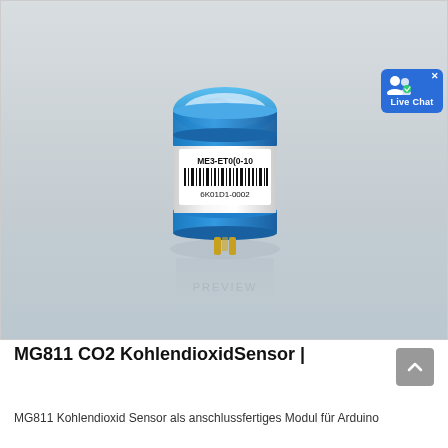[Figure (photo): Product photo of an MG811 CO2 electrochemical gas sensor module. Cylindrical sensor with a white body, blue top ring, and gold-colored metal pin contacts at the bottom. A barcode label on the side reads 'ME3-ET0(0-100' and '6K01D1-0002'. The background is a light grey-blue gradient. A 'Live Chat' badge is visible in the top-right corner.]
MG811 CO2 KohlendioxidSensor |
MG811 Kohlendioxid Sensor als anschlussfertiges Modul für Arduino